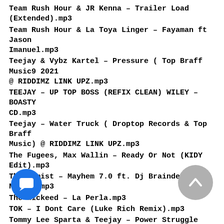Team Rush Hour & JR Kenna – Trailer Load (Extended).mp3
Team Rush Hour & La Toya Linger – Fayaman ft Jason Imanuel.mp3
Teejay & Vybz Kartel – Pressure ( Top Braff Music9 2021 @ RIDDIMZ LINK UPZ.mp3
TEEJAY – UP TOP BOSS (REFIX CLEAN) WILEY – BOASTY CD.mp3
Teejay – Water Truck ( Droptop Records & Top Braff Music) @ RIDDIMZ LINK UPZ.mp3
The Fugees, Max Wallin – Ready Or Not (KIDY Edit).mp3
The Kemist – Mayhem 7.0 ft. Dj Braindead & Nyanda.mp3
The Wickeed – La Perla.mp3
TOK – I Dont Care (Luke Rich Remix).mp3
Tommy Lee Sparta & Teejay – Power Struggle (Damage Musiq) 2021 @ RIDDIMZ LINK UPZ.mp3
Finga – My Money.mp3
dad Ghost – More Zessing (Stunna Radio Edit)-Pon Cocky Riddim-.mp3